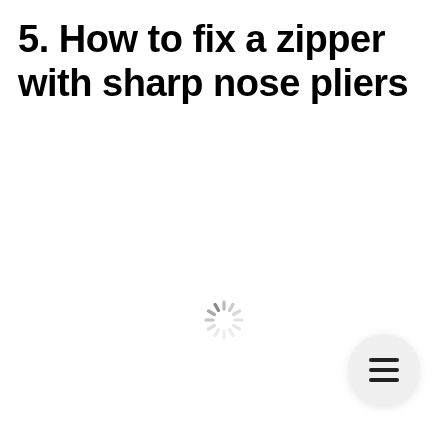5. How to fix a zipper with sharp nose pliers
[Figure (other): Loading spinner icon (circular dashed spinner animation indicator)]
[Figure (other): Hamburger menu button (three horizontal lines inside a circular white button)]